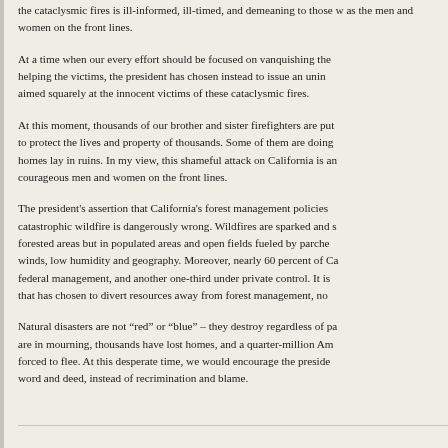The president's message attacking California and threatening to withhold aid to those battling the cataclysmic fires is ill-informed, ill-timed, and demeaning to those who are working as hard as the men and women on the front lines.
At a time when our every effort should be focused on vanquishing the fires and helping the victims, the president has chosen instead to issue an uninformed threat aimed squarely at the innocent victims of these cataclysmic fires.
At this moment, thousands of our brother and sister firefighters are putting their lives on the line to protect the lives and property of thousands. Some of them are doing so even as their own homes lay in ruins. In my view, this shameful attack on California is an insult to these courageous men and women on the front lines.
The president's assertion that California's forest management policies are responsible for catastrophic wildfire is dangerously wrong. Wildfires are sparked and spread not just in forested areas but in populated areas and open fields fueled by parched vegetation, fierce winds, low humidity and geography. Moreover, nearly 60 percent of California forests are under federal management, and another one-third under private control. It is the federal government that has chosen to divert resources away from forest management, not California.
Natural disasters are not “red” or “blue” – they destroy regardless of party. Californians are in mourning, thousands have lost homes, and a quarter-million Americans have been forced to flee. At this desperate time, we would encourage the president to lead in word and deed, instead of recrimination and blame.